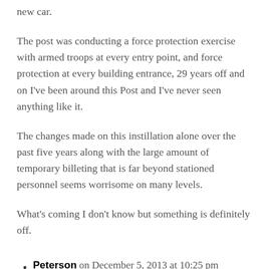new car.
The post was conducting a force protection exercise with armed troops at every entry point, and force protection at every building entrance, 29 years off and on I've been around this Post and I've never seen anything like it.
The changes made on this instillation alone over the past five years along with the large amount of temporary billeting that is far beyond stationed personnel seems worrisome on many levels.
What's coming I don't know but something is definitely off.
Peterson on December 5, 2013 at 10:25 pm
Thanks for sharing